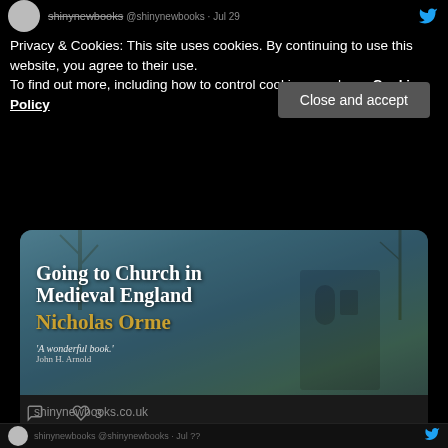[Figure (screenshot): Partial Twitter/X tweet header with avatar and handle (cropped at top)]
Privacy & Cookies: This site uses cookies. By continuing to use this website, you agree to their use.
To find out more, including how to control cookies, see here: Cookie Policy
Close and accept
[Figure (photo): Book cover of 'Going to Church in Medieval England' by Nicholas Orme, with quote 'A wonderful book.' by John H. Arnold]
shinynewbooks.co.uk
Going to Church in Medieval England by Nicholas Orme
[Figure (screenshot): Tweet action icons: comment (0) and like (3)]
[Figure (screenshot): Partial second tweet header at the bottom of the page]